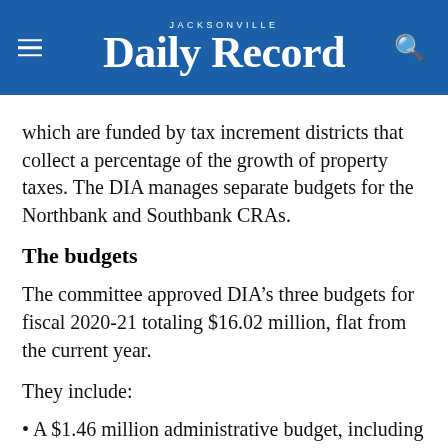JACKSONVILLE Daily Record
which are funded by tax increment districts that collect a percentage of the growth of property taxes. The DIA manages separate budgets for the Northbank and Southbank CRAs.
The budgets
The committee approved DIA’s three budgets for fiscal 2020-21 totaling $16.02 million, flat from the current year.
They include:
• A $1.46 million administrative budget, including